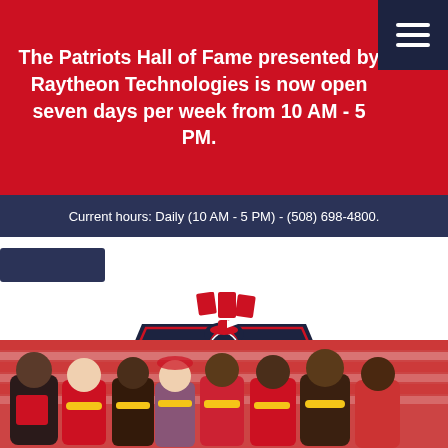The Patriots Hall of Fame presented by Raytheon Technologies is now open seven days per week from 10 AM - 5 PM.
Current hours: Daily (10 AM - 5 PM) - (508) 698-4800.
[Figure (logo): Patriots Hall of Fame presented by Raytheon Technologies logo. Shield shape with Patriots logo at top, HALL OF FAME text, mascot figure at bottom, red accents. Below: PRESENTED BY Raytheon Technologies wordmark.]
[Figure (photo): Group photo of football players and a woman wearing leis (Hawaiian garlands), all in red uniforms, seated in stadium stands.]